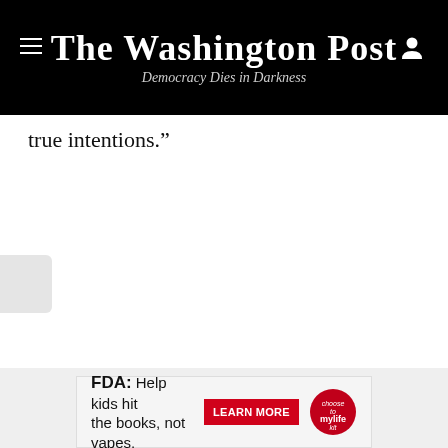The Washington Post — Democracy Dies in Darkness
true intentions.”
[Figure (other): FDA advertisement banner: 'FDA: Help kids hit the books, not vapes.' with a red LEARN MORE button and a branded circular logo on the right.]